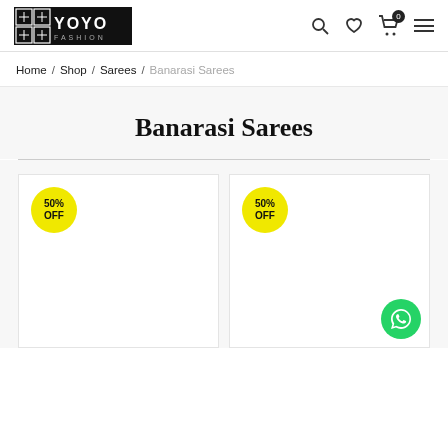YOYO FASHION — header with logo, search, wishlist, cart (0), menu icons
Home / Shop / Sarees / Banarasi Sarees
Banarasi Sarees
[Figure (other): Product card 1 with 50% OFF yellow badge]
[Figure (other): Product card 2 with 50% OFF yellow badge and WhatsApp button]